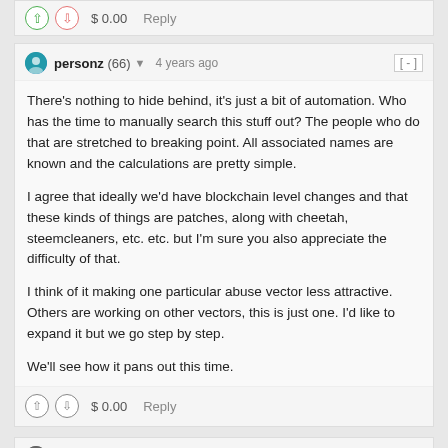$ 0.00   Reply
personz (66) ▾  4 years ago  [ - ]
There's nothing to hide behind, it's just a bit of automation. Who has the time to manually search this stuff out? The people who do that are stretched to breaking point. All associated names are known and the calculations are pretty simple.

I agree that ideally we'd have blockchain level changes and that these kinds of things are patches, along with cheetah, steemcleaners, etc. etc. but I'm sure you also appreciate the difficulty of that.

I think of it making one particular abuse vector less attractive. Others are working on other vectors, this is just one. I'd like to expand it but we go step by step.

We'll see how it pans out this time.
$ 0.00   Reply
valued-customer (67) ▾  4 years ago  [ - ]
I note that creating a bot with delegations creates a larger pool of SP to flag with.